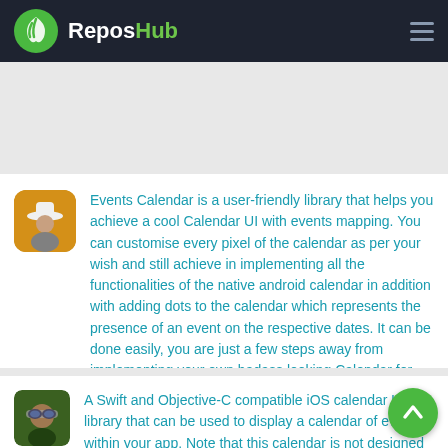ReposHub
Events Calendar is a user-friendly library that helps you achieve a cool Calendar UI with events mapping. You can customise every pixel of the calendar as per your wish and still achieve in implementing all the functionalities of the native android calendar in addition with adding dots to the calendar which represents the presence of an event on the respective dates. It can be done easily, you are just a few steps away from implementing your own badass looking Calendar for your very own project!
A Swift and Objective-C compatible iOS calendar UI library that can be used to display a calendar of events within your app. Note that this calendar is not designed as a picker but